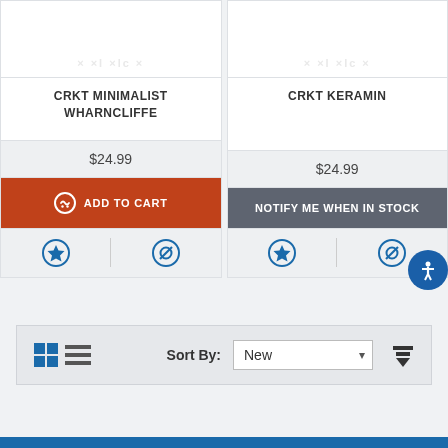CRKT MINIMALIST WHARNCLIFFE
$24.99
ADD TO CART
CRKT KERAMIN
$24.99
NOTIFY ME WHEN IN STOCK
Sort By: New